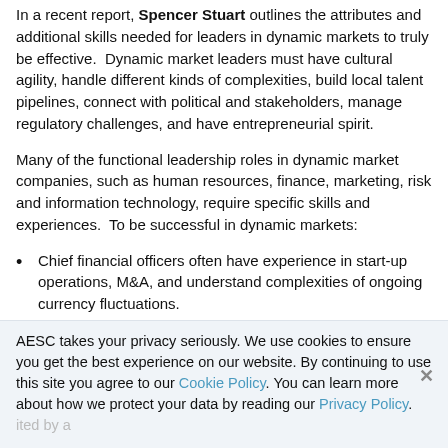In a recent report, Spencer Stuart outlines the attributes and additional skills needed for leaders in dynamic markets to truly be effective. Dynamic market leaders must have cultural agility, handle different kinds of complexities, build local talent pipelines, connect with political and stakeholders, manage regulatory challenges, and have entrepreneurial spirit.
Many of the functional leadership roles in dynamic market companies, such as human resources, finance, marketing, risk and information technology, require specific skills and experiences. To be successful in dynamic markets:
Chief financial officers often have experience in start-up operations, M&A, and understand complexities of ongoing currency fluctuations.
Chief information officers need to understand regulatory issues and that the cost of setting up information
AESC takes your privacy seriously. We use cookies to ensure you get the best experience on our website. By continuing to use this site you agree to our Cookie Policy. You can learn more about how we protect your data by reading our Privacy Policy.